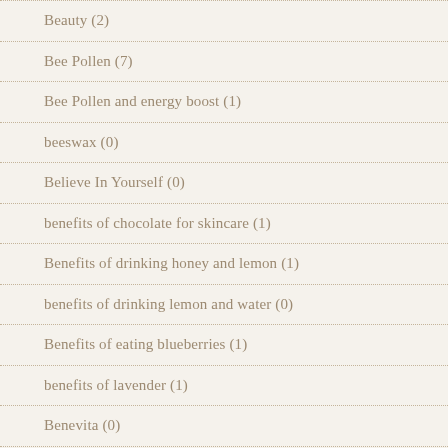Beauty (2)
Bee Pollen (7)
Bee Pollen and energy boost (1)
beeswax (0)
Believe In Yourself (0)
benefits of chocolate for skincare (1)
Benefits of drinking honey and lemon (1)
benefits of drinking lemon and water (0)
Benefits of eating blueberries (1)
benefits of lavender (1)
Benevita (0)
Benevita Go and Recovery Capsules (0)
Benevita Weight Management System (0)